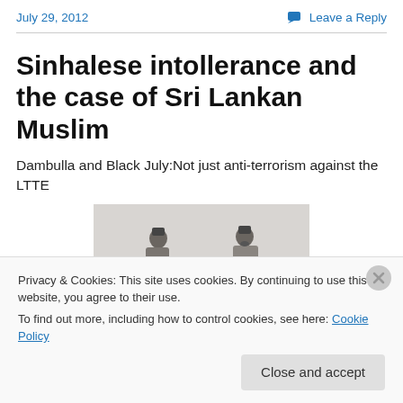July 29, 2012
Leave a Reply
Sinhalese intollerance and the case of Sri Lankan Muslim
Dambulla and Black July:Not just anti-terrorism against the LTTE
[Figure (photo): Black and white historical photograph of a group of men wearing fez hats]
Privacy & Cookies: This site uses cookies. By continuing to use this website, you agree to their use.
To find out more, including how to control cookies, see here: Cookie Policy
Close and accept